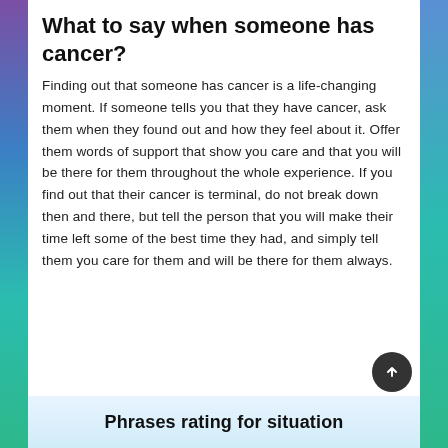What to say when someone has cancer?
Finding out that someone has cancer is a life-changing moment. If someone tells you that they have cancer, ask them when they found out and how they feel about it. Offer them words of support that show you care and that you will be there for them throughout the whole experience. If you find out that their cancer is terminal, do not break down then and there, but tell the person that you will make their time left some of the best time they had, and simply tell them you care for them and will be there for them always.
Phrases rating for situation